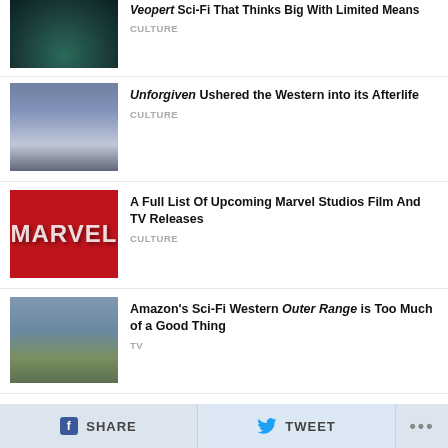Veopert Sci-Fi That Thinks Big With Limited Means — CULTURE
Unforgiven Ushered the Western into its Afterlife — CULTURE
A Full List Of Upcoming Marvel Studios Film And TV Releases — CULTURE
Amazon's Sci-Fi Western Outer Range is Too Much of a Good Thing — TV
The Middle Earth Masterpieces: Ranking the Lord of the Rings and Hobbit Films — CULTURE
SHARE   TWEET   ...